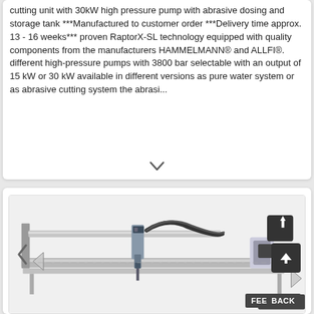cutting unit with 30kW high pressure pump with abrasive dosing and storage tank ***Manufactured to customer order ***Delivery time approx. 13 - 16 weeks*** proven RaptorX-SL technology equipped with quality components from the manufacturers HAMMELMANN® and ALLFI®. different high-pressure pumps with 3800 bar selectable with an output of 15 kW or 30 kW available in different versions as pure water system or as abrasive cutting system the abrasi...
[Figure (photo): Photo of a waterjet cutting machine on a flat table, showing the gantry, cutting head, hoses, and rails. Navigation arrows on sides. Scroll-to-top button and FEEDBACK tab visible.]